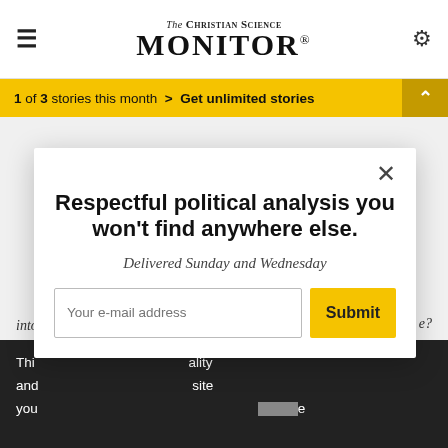The Christian Science Monitor
1 of 3 stories this month > Get unlimited stories
Your subscription makes our work possible.
We want to bridge divides to reach everyone.
Respectful political analysis you won't find anywhere else.
Delivered Sunday and Wednesday
Your e-mail address
Submit